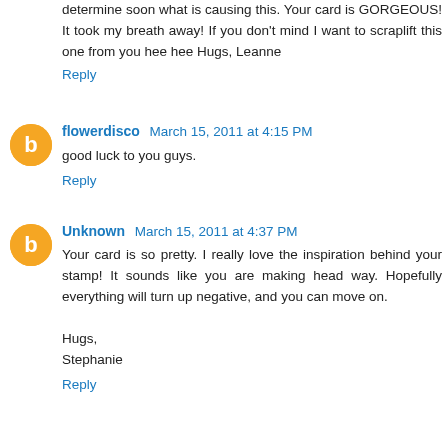determine soon what is causing this. Your card is GORGEOUS! It took my breath away! If you don't mind I want to scraplift this one from you hee hee Hugs, Leanne
Reply
flowerdisco March 15, 2011 at 4:15 PM
good luck to you guys.
Reply
Unknown March 15, 2011 at 4:37 PM
Your card is so pretty. I really love the inspiration behind your stamp! It sounds like you are making head way. Hopefully everything will turn up negative, and you can move on.

Hugs,
Stephanie
Reply